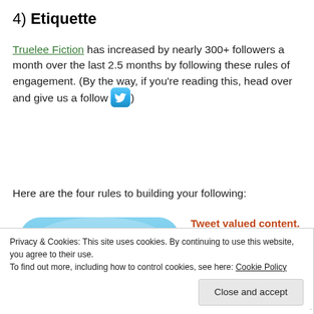4) Etiquette
Truelee Fiction has increased by nearly 300+ followers a month over the last 2.5 months by following these rules of engagement. (By the way, if you're reading this, head over and give us a follow [twitter icon])
Here are the four rules to building your following:
[Figure (logo): Large Twitter bird logo icon with blue rounded square background]
Tweet valued content. Anyone can tweet about anything, but if you really want a great
Privacy & Cookies: This site uses cookies. By continuing to use this website, you agree to their use.
To find out more, including how to control cookies, see here: Cookie Policy
Close and accept